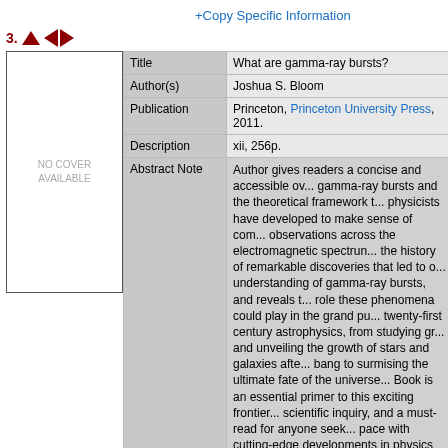+Copy Specific Information
3. ↑ ← →
[Figure (other): No cover available placeholder image - white box with gray text saying NO COVER AVAILABLE]
| Field | Value |
| --- | --- |
| Title | What are gamma-ray bursts? |
| Author(s) | Joshua S. Bloom |
| Publication | Princeton, Princeton University Press, 2011. |
| Description | xii, 256p. |
| Abstract Note | Author gives readers a concise and accessible overview of gamma-ray bursts and the theoretical framework that physicists have developed to make sense of complex observations across the electromagnetic spectrum. Recounts the history of remarkable discoveries that led to our current understanding of gamma-ray bursts, and reveals the role these phenomena could play in the grand pursuit of twenty-first century astrophysics, from studying gr... and unveiling the growth of stars and galaxies after the big bang to surmising the ultimate fate of the universe. Book is an essential primer to this exciting frontier of scientific inquiry, and a must-read for anyone seeking to keep pace with cutting-edge developments in physics to... |
| ISBN,Price | 9780691145570 : Rs. 29.95(PB) |
| Classification | 52-732 |
| Keyword(s) | GAMMA-RAY BURSTS |
| Item Type | Book |
Circulation Data
| Accession# | Call# | Status | Issued To | Return Due On |
| --- | --- | --- | --- | --- |